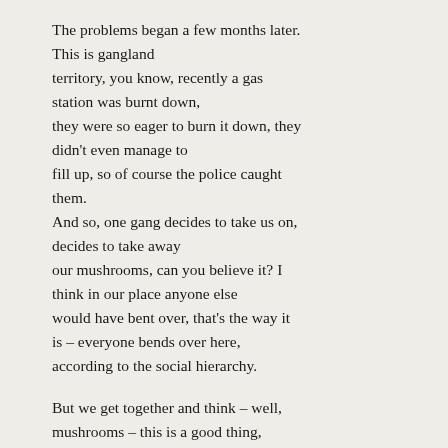The problems began a few months later. This is gangland territory, you know, recently a gas station was burnt down, they were so eager to burn it down, they didn't even manage to fill up, so of course the police caught them. And so, one gang decides to take us on, decides to take away our mushrooms, can you believe it? I think in our place anyone else would have bent over, that's the way it is – everyone bends over here, according to the social hierarchy.

But we get together and think – well, mushrooms – this is a good thing, it's not a matter of mushrooms, or elbow grease, or even the pumping station, although this was one of the arguments.